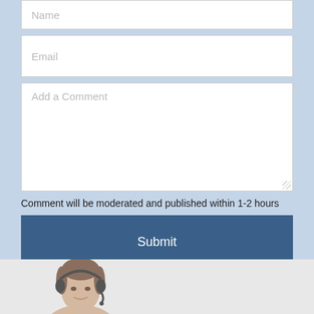[Figure (screenshot): Web comment form with Name field, Email field, Add a Comment textarea, moderation notice text, and a Submit button, all on a light blue background]
Comment will be moderated and published within 1-2 hours
[Figure (photo): Bottom portion of a woman wearing a headset, partial face visible, on a light gray background]